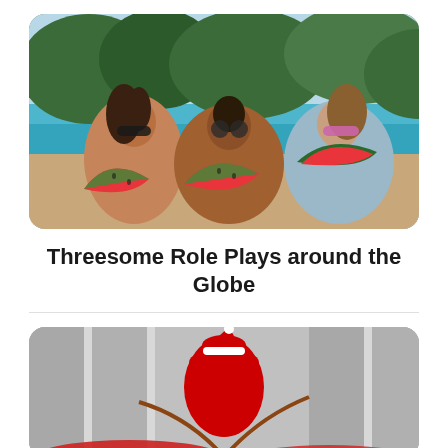[Figure (photo): Three women in bikinis at a tropical beach, each holding and eating slices of watermelon, wearing sunglasses, with turquoise water and palm trees in the background.]
Threesome Role Plays around the Globe
[Figure (photo): A person in a Santa hat and red outfit, partially visible at the bottom of the frame, indoors with curtains in the background.]